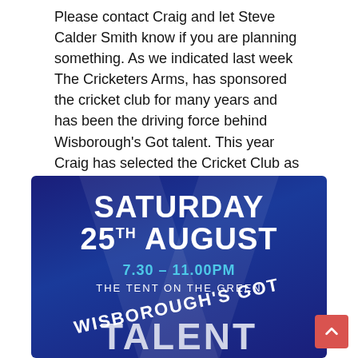Please contact Craig and let Steve Calder Smith know if you are planning something. As we indicated last week The Cricketers Arms, has sponsored the cricket club for many years and has been the driving force behind Wisborough's Got talent. This year Craig has selected the Cricket Club as the beneficiary of funds raised on the evening. See details below .
[Figure (illustration): Promotional poster for Wisborough's Got Talent event. Dark blue starry background with spotlight beams. Text reads: SATURDAY 25TH AUGUST, 7.30 – 11.00PM, THE TENT ON THE GREEN, WISBOROUGH'S GOT TALENT (partially visible at bottom).]